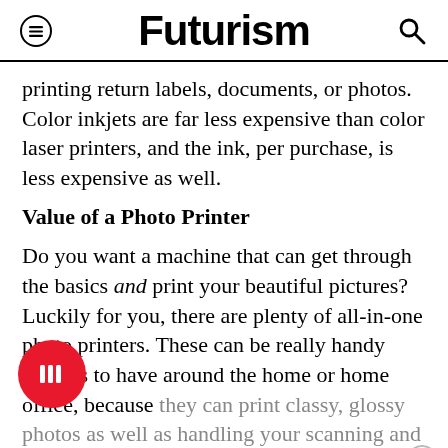Futurism
printing return labels, documents, or photos. Color inkjets are far less expensive than color laser printers, and the ink, per purchase, is less expensive as well.
Value of a Photo Printer
Do you want a machine that can get through the basics and print your beautiful pictures? Luckily for you, there are plenty of all-in-one photo printers. These can be really handy devices to have around the home or home office, because they can print classy, glossy photos as well as handling your scanning and copying needs. If